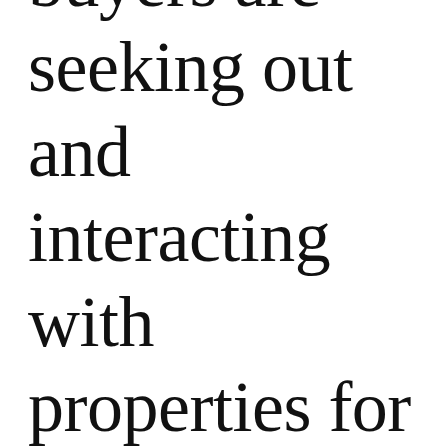buyers are seeking out and interacting with properties for sale that